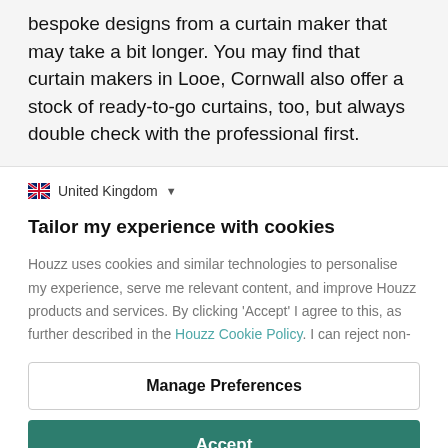bespoke designs from a curtain maker that may take a bit longer. You may find that curtain makers in Looe, Cornwall also offer a stock of ready-to-go curtains, too, but always double check with the professional first.
United Kingdom
Tailor my experience with cookies
Houzz uses cookies and similar technologies to personalise my experience, serve me relevant content, and improve Houzz products and services. By clicking 'Accept' I agree to this, as further described in the Houzz Cookie Policy. I can reject non-
Manage Preferences
Accept